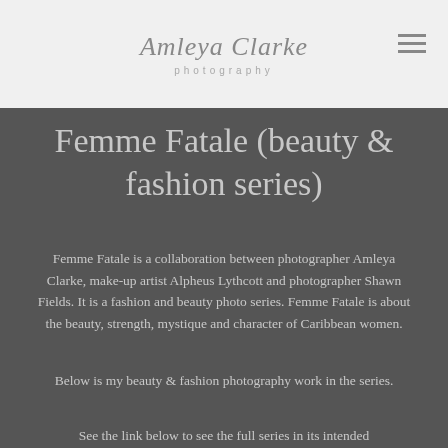[Figure (logo): Amleya Clarke Photography script logo in gray italic text with 'photography' in small spaced lettering below]
[Figure (other): Hamburger menu icon with three horizontal lines in top right corner]
Femme Fatale (beauty & fashion series)
Femme Fatale is a collaboration between photographer Amleya Clarke, make-up artist Alpheus Lythcott and photographer Shawn Fields. It is a fashion and beauty photo series. Femme Fatale is about the beauty, strength, mystique and character of Caribbean women.
Below is my beauty & fashion photography work in the series.
See the link below to see the full series in its intended